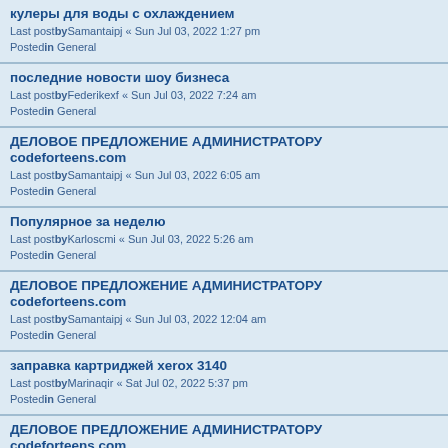кулеры для воды с охлаждением
Last postby Samantaipj « Sun Jul 03, 2022 1:27 pm
Posted in General
последние новости шоу бизнеса
Last postby Federikexf « Sun Jul 03, 2022 7:24 am
Posted in General
ДЕЛОВОЕ ПРЕДЛОЖЕНИЕ АДМИНИСТРАТОРУ codeforteens.com
Last postby Samantaipj « Sun Jul 03, 2022 6:05 am
Posted in General
Популярное за неделю
Last postby Karloscmi « Sun Jul 03, 2022 5:26 am
Posted in General
ДЕЛОВОЕ ПРЕДЛОЖЕНИЕ АДМИНИСТРАТОРУ codeforteens.com
Last postby Samantaipj « Sun Jul 03, 2022 12:04 am
Posted in General
заправка картриджей xerox 3140
Last postby Marinaqir « Sat Jul 02, 2022 5:37 pm
Posted in General
ДЕЛОВОЕ ПРЕДЛОЖЕНИЕ АДМИНИСТРАТОРУ codeforteens.com
Last postby Samantaipj « Sat Jul 02, 2022 5:05 pm
Posted in General
ДЕЛОВОЕ ПРЕДЛОЖЕНИЕ АДМИНИСТРАТОРУ codeforteens.com
Last postby Samantaipj « Sat Jul 02, 2022 11:10 am
Posted in General
Where is Administration codeforteens.com ??
Last postby Samantaipj « Sat Jul 02, 2022 2:09 am